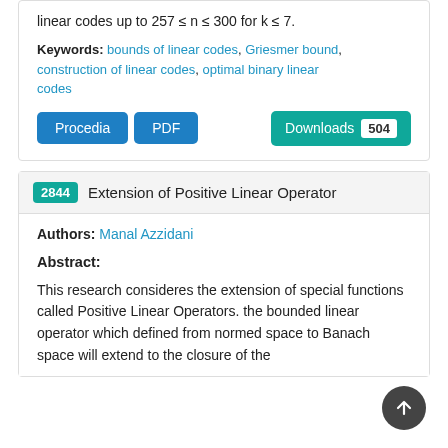linear codes up to 257 ≤ n ≤ 300 for k ≤ 7.
Keywords: bounds of linear codes, Griesmer bound, construction of linear codes, optimal binary linear codes
Procedia  PDF  Downloads 504
2844 Extension of Positive Linear Operator
Authors: Manal Azzidani
Abstract:
This research consideres the extension of special functions called Positive Linear Operators. the bounded linear operator which defined from normed space to Banach space will extend to the closure of the